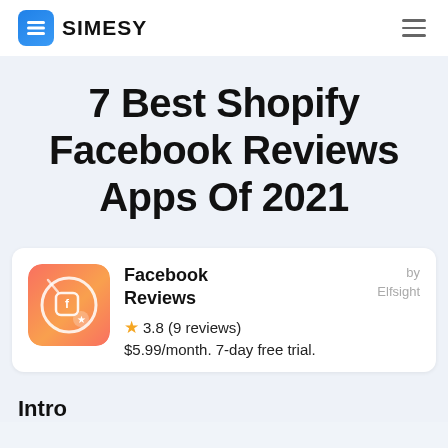SIMESY
7 Best Shopify Facebook Reviews Apps Of 2021
Facebook Reviews by Elfsight — 3.8 (9 reviews) — $5.99/month. 7-day free trial.
Intro